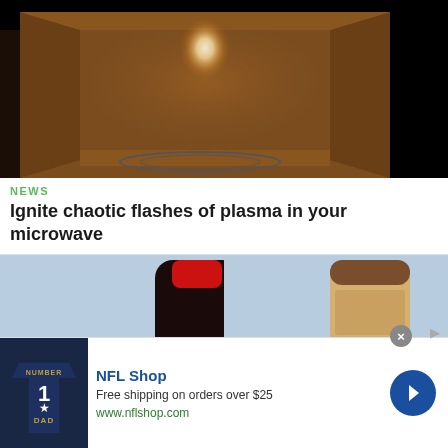[Figure (photo): Interior of a microwave oven showing a bright glowing plasma flash, brown/tan interior walls with a circular turntable at the bottom]
NEWS
Ignite chaotic flashes of plasma in your microwave
[Figure (photo): Two Coca-Cola bottles side by side against a light blue background — one normal dark cola on left, one discolored/expired lighter colored cola on right]
[Figure (other): Advertisement for NFL Shop. Shows a navy blue NFL jersey with number 1 and DAD text. Text reads: NFL Shop, Free shipping on orders over $25, www.nflshop.com. Blue circular arrow button on right.]